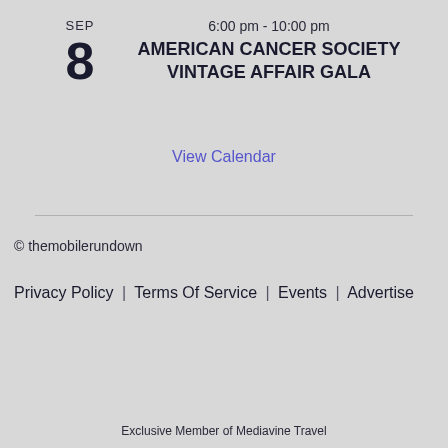SEP
8
6:00 pm - 10:00 pm
AMERICAN CANCER SOCIETY VINTAGE AFFAIR GALA
View Calendar
© themobilerundown
Privacy Policy | Terms Of Service | Events | Advertise
Exclusive Member of Mediavine Travel